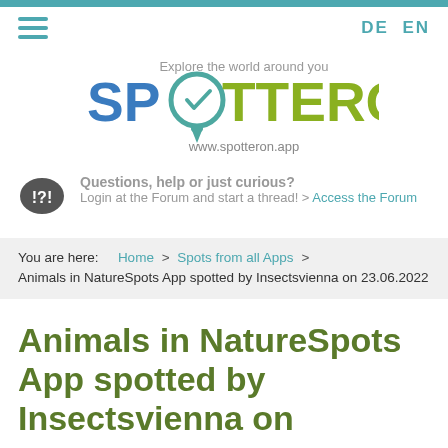DE EN
[Figure (logo): SPOTTERON logo with tagline 'Explore the world around you' and URL www.spotteron.app]
Questions, help or just curious?
Login at the Forum and start a thread! > Access the Forum
You are here: Home > Spots from all Apps > Animals in NatureSpots App spotted by Insectsvienna on 23.06.2022
Animals in NatureSpots App spotted by Insectsvienna on